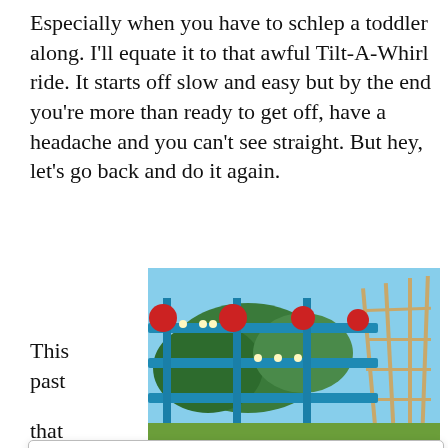Especially when you have to schlep a toddler along. I'll equate it to that awful Tilt-A-Whirl ride. It starts off slow and easy but by the end you're more than ready to get off, have a headache and you can't see straight. But hey, let's go back and do it again.
[Figure (photo): Outdoor amusement park ride with blue metal frame structure, decorative red flowers/ornaments, string lights, and a wooden roller coaster visible in the background against a blue sky with trees.]
This past
Privacy & Cookies: This site uses cookies. By continuing to use this website, you agree to their use. To find out more, including how to control cookies, see here: Cookie Policy
Close and accept
that